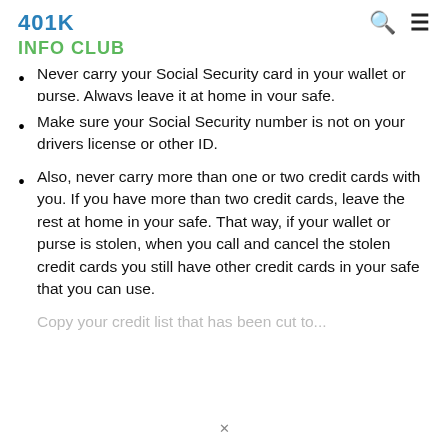401K
INFO CLUB
Never carry your Social Security card in your wallet or purse. Always leave it at home in your safe.
Make sure your Social Security number is not on your drivers license or other ID.
Also, never carry more than one or two credit cards with you. If you have more than two credit cards, leave the rest at home in your safe. That way, if your wallet or purse is stolen, when you call and cancel the stolen credit cards you still have other credit cards in your safe that you can use.
Copy your credit list that has been cut to...